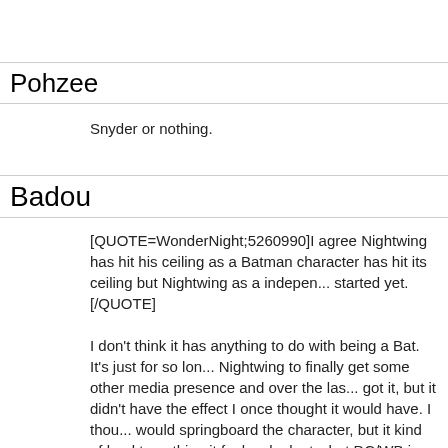Pohzee
Snyder or nothing.
Badou
[QUOTE=WonderNight;5260990]I agree Nightwing has hit his ceiling as a Batman character has hit its ceiling but Nightwing as a independent hero has barely started yet.[/QUOTE]

I don't think it has anything to do with being a Bat. It's just for so long we wanted Nightwing to finally get some other media presence and over the last couple of years he got it, but it didn't have the effect I once thought it would have. I thought that exposure would springboard the character, but it kind of lead to nothing it feels like. Then when you look at what DC/WB is doing with their characters they are giving shots to so many different characters that it no longer feels special, and to me it seems they don't really look at Nightwing as something they can do more with. So it feels like he has hit a ceiling. The next could of years will be very telling I think if they think he is a brand or character they can do more with or not.

[QUOTE=Avi;5261007]
A blue and gold Deathstroke mask would be pretty cool, but it seem
[QUOTE=Avi;5261007]
A blue and gold Deathstroke mask would be pretty cool, but it seem